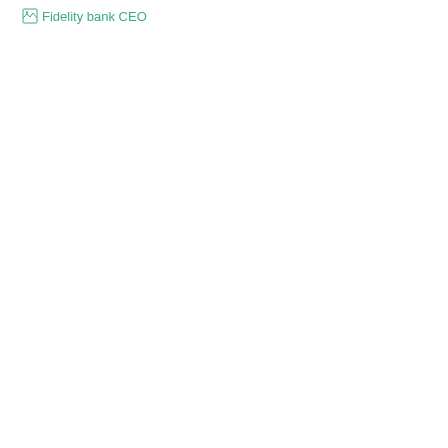[Figure (photo): Broken image placeholder with alt text 'Fidelity bank CEO' shown in teal/green color with a small image icon]